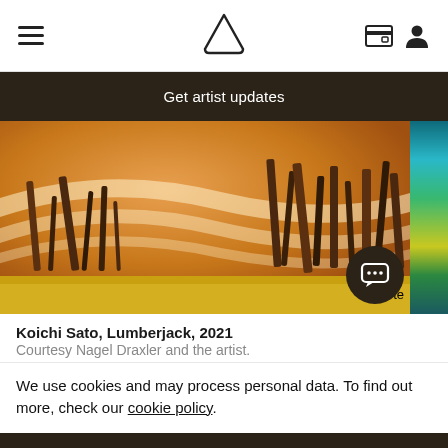Navigation bar with hamburger menu, logo, wallet icon, and user icon
Get artist updates
[Figure (photo): Close-up of an abstract painting with warm orange/amber tones, curved brushstrokes suggesting a landscape, with dark vertical marks resembling trees. A partial second artwork with blue-green striped pattern is visible at the right edge. A dark circular chat button overlay is in the bottom right.]
Koichi Sato, Lumberjack, 2021
Courtesy Nagel Draxler and the artist.
We use cookies and may process personal data. To find out more, check our cookie policy.
I understand